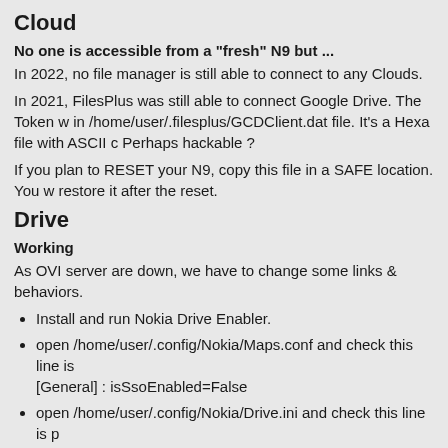Cloud
No one is accessible from a "fresh" N9 but ...
In 2022, no file manager is still able to connect to any Clouds.
In 2021, FilesPlus was still able to connect Google Drive. The Token w in /home/user/.filesplus/GCDClient.dat file. It's a Hexa file with ASCII c Perhaps hackable ?
If you plan to RESET your N9, copy this file in a SAFE location. You w restore it after the reset.
Drive
Working
As OVI server are down, we have to change some links & behaviors.
Install and run Nokia Drive Enabler.
open /home/user/.config/Nokia/Maps.conf and check this line is [General] : isSsoEnabled=False
open /home/user/.config/Nokia/Drive.ini and check this line is [Generalsettings] : ssoDone=True
Change the SUPL resource for GPS FIX because supl.nokia.com is dead :
First method : run N9 QTweakAll and change the GPS Fix "supl.google.com"